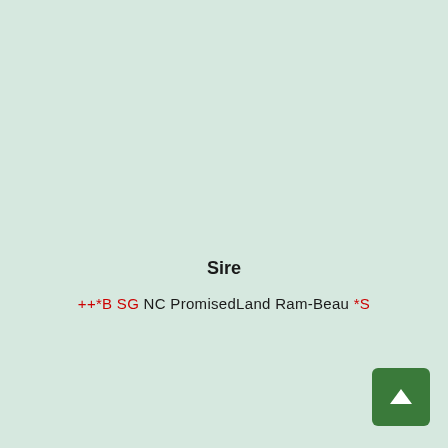Sire
++*B SG NC PromisedLand Ram-Beau *S